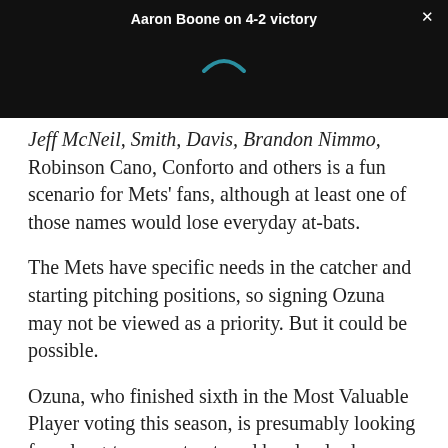Aaron Boone on 4-2 victory
[Figure (screenshot): Video player thumbnail showing a dark background with a teal/blue loading arc spinner in the center]
Jeff McNeil, Smith, Davis, Brandon Nimmo, Robinson Cano, Conforto and others is a fun scenario for Mets' fans, although at least one of those names would lose everyday at-bats.
The Mets have specific needs in the catcher and starting pitching positions, so signing Ozuna may not be viewed as a priority. But it could be possible.
Ozuna, who finished sixth in the Most Valuable Player voting this season, is presumably looking for a long-term contract, and he clearly deserves one.